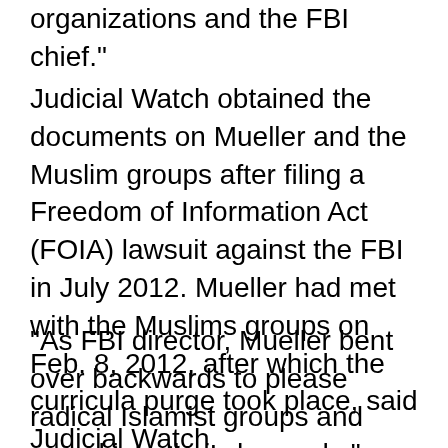organizations and the FBI chief."
Judicial Watch obtained the documents on Mueller and the Muslim groups after filing a Freedom of Information Act (FOIA) lawsuit against the FBI in July 2012. Mueller had met with the Muslims groups on Feb. 8, 2012, after which the curricula purge took place, said Judicial Watch.
"As FBI director, Mueller bent over backwards to please radical Islamist groups and caved into their demands," said Judicial Watch. "The agency eliminated the valuable anti-terrorism training material and curricula